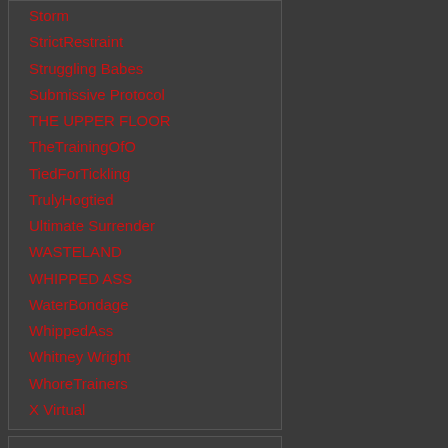Storm
StrictRestraint
Struggling Babes
Submissive Protocol
THE UPPER FLOOR
TheTrainingOfO
TiedForTickling
TrulyHogtied
Ultimate Surrender
WASTELAND
WHIPPED ASS
WaterBondage
WhippedAss
Whitney Wright
WhoreTrainers
X Virtual
BEST QUALITY
•
HD 720p